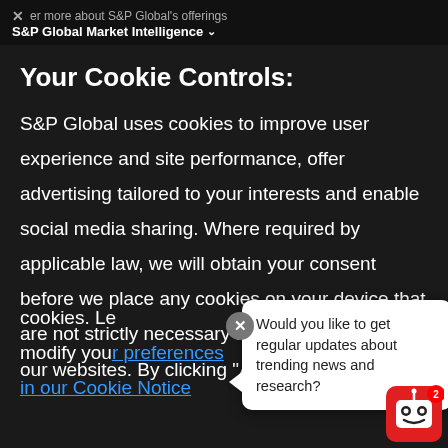× er more about S&P Global's offerings
S&P Global Market Intelligence ∨
Your Cookie Controls:
S&P Global uses cookies to improve user experience and site performance, offer advertising tailored to your interests and enable social media sharing. Where required by applicable law, we will obtain your consent before we place any cookies on your device that are not strictly necessary for the functioning of our websites. By clicking "Accept All" you agree to the use of these cookies. Learn more and manage your cookies or modify your preferences in our Cookie Notice
Would you like to get regular updates about trending news and research?